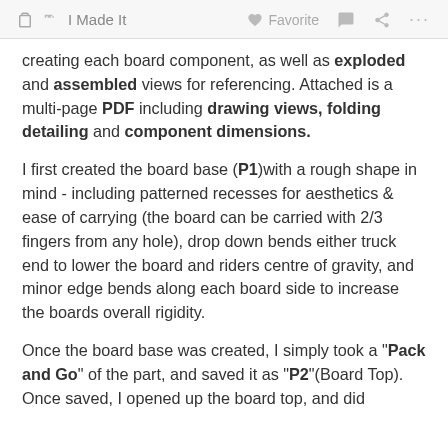✋ I Made It   ♡ Favorite   💬   ⋮⋮⋮
creating each board component, as well as exploded and assembled views for referencing. Attached is a multi-page PDF including drawing views, folding detailing and component dimensions.
I first created the board base (P1)with a rough shape in mind - including patterned recesses for aesthetics & ease of carrying (the board can be carried with 2/3 fingers from any hole), drop down bends either truck end to lower the board and riders centre of gravity, and minor edge bends along each board side to increase the boards overall rigidity.
Once the board base was created, I simply took a "Pack and Go" of the part, and saved it as "P2"(Board Top). Once saved, I opened up the board top, and did